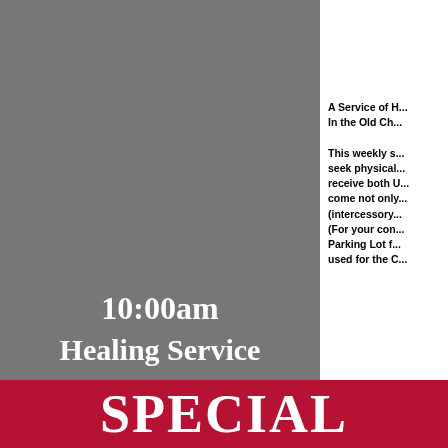10:00am Healing Service
A Service of H... In the Old Ch... This weekly s... seek physical... receive both U... come not only... (intercessory... (For your con... Parking Lot f... used for the C...
SPECIAL